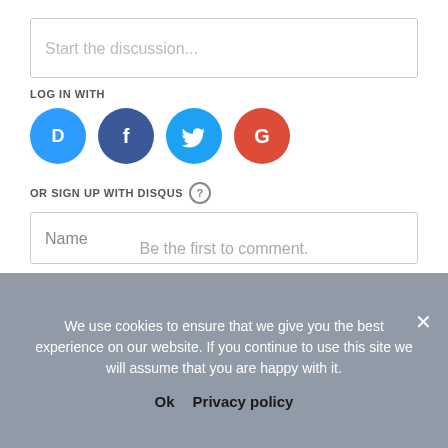Start the discussion...
LOG IN WITH
[Figure (illustration): Four social login icons in circles: Disqus (blue), Facebook (dark blue), Twitter (light blue), Google (red)]
OR SIGN UP WITH DISQUS
Name
Be the first to comment.
We use cookies to ensure that we give you the best experience on our website. If you continue to use this site we will assume that you are happy with it.
Ok   Privacy policy